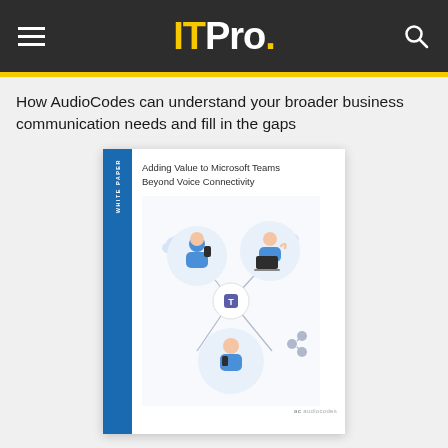ITPro.
How AudioCodes can understand your broader business communication needs and fill in the gaps
[Figure (illustration): White paper cover for 'Adding Value to Microsoft Teams Beyond Voice Connectivity' by AudioCodes, featuring illustrated people connected by a network with Microsoft Teams logo in the center.]
FREE DOWNLOAD